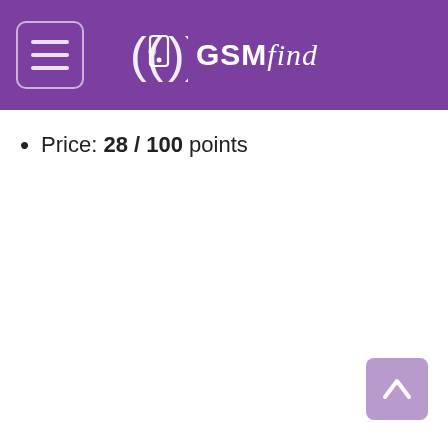GSMfind
Price: 28 / 100 points